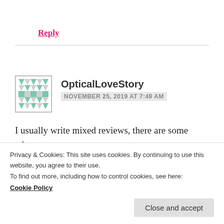Reply
OpticalLoveStory
NOVEMBER 25, 2019 AT 7:49 AM
I usually write mixed reviews, there are some where
Privacy & Cookies: This site uses cookies. By continuing to use this website, you agree to their use.
To find out more, including how to control cookies, see here:
Cookie Policy
Close and accept